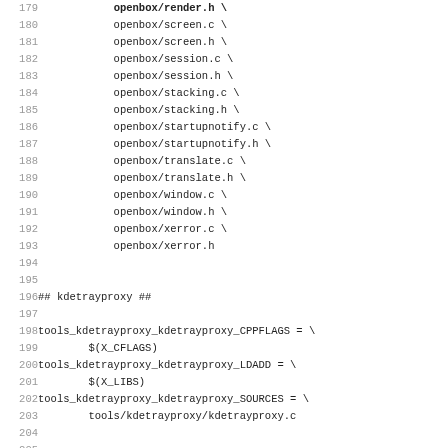Code listing lines 179-211 showing openbox source files and makefile variables for kdetrayproxy and gnome-panel-control